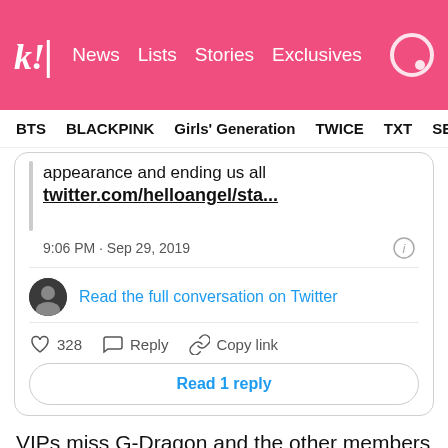koreaboo | News  Lists  Stories  Exclusives
BTS  BLACKPINK  Girls' Generation  TWICE  TXT  SEVE...
[Figure (screenshot): Embedded tweet screenshot showing partial tweet text 'appearance and ending us all twitter.com/helloangel/sta...' with timestamp '9:06 PM · Sep 29, 2019', avatar, 'Read the full conversation on Twitter', 328 likes, Reply, Copy link, and 'Read 1 reply' button]
VIPs miss G-Dragon and the other members of BIGBANG dearly, with many counting the days until they're all discharged and can promote as a group again. For now, this photo of G-Dragon is enough to bring a smile to VIPs faces!